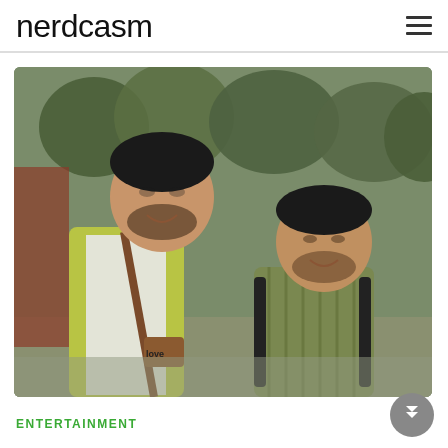Nerdcasm
[Figure (photo): Two young men walking outdoors on a college campus. The man on the left wears a yellow-green cardigan over a white t-shirt with a brown sling bag labeled 'love'. The man on the right wears a striped olive polo shirt with a black backpack. Trees and a red brick wall are visible in the background.]
ENTERTAINMENT